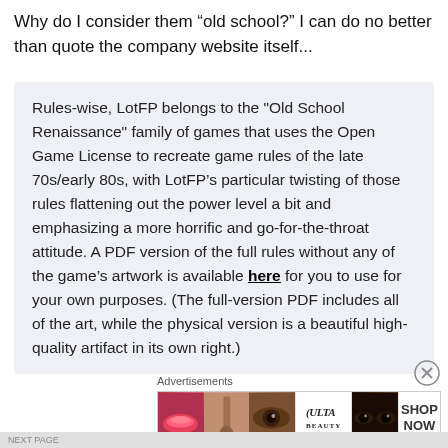Why do I consider them “old school?” I can do no better than quote the company website itself...
Rules-wise, LotFP belongs to the "Old School Renaissance" family of games that uses the Open Game License to recreate game rules of the late 70s/early 80s, with LotFP’s particular twisting of those rules flattening out the power level a bit and emphasizing a more horrific and go-for-the-throat attitude. A PDF version of the full rules without any of the game’s artwork is available here for you to use for your own purposes. (The full-version PDF includes all of the art, while the physical version is a beautiful high-quality artifact in its own right.)
Advertisements
[Figure (photo): Ulta beauty advertisement banner showing close-up photos of lips with lipstick, a makeup brush, an eye with makeup, the Ulta logo, eyes with dramatic makeup, and a SHOP NOW button]